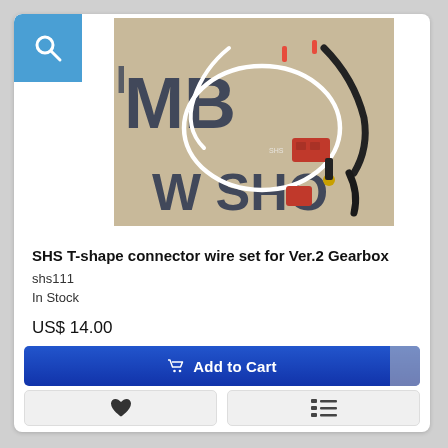[Figure (photo): Product photo of SHS T-shape connector wire set for Ver.2 Gearbox, showing white and black wires with red T-connectors on a branded background]
SHS T-shape connector wire set for Ver.2 Gearbox
shs111
In Stock
US$ 14.00
Add to Cart